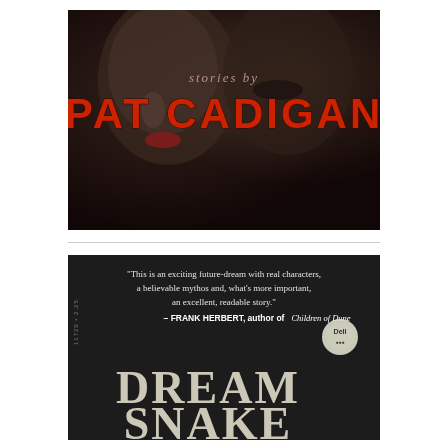[Figure (photo): Book cover showing 'Stories by Pat Cadigan' with stylized faces in dark tones and large red bold text for the author name on a dark background]
[Figure (photo): Book cover of 'Dream Snake' with dark/black background, white title text, a blurb quote from Frank Herbert praising it as an exciting future-dream with real characters, a believable mythos and excellent readable story, with a publisher logo]